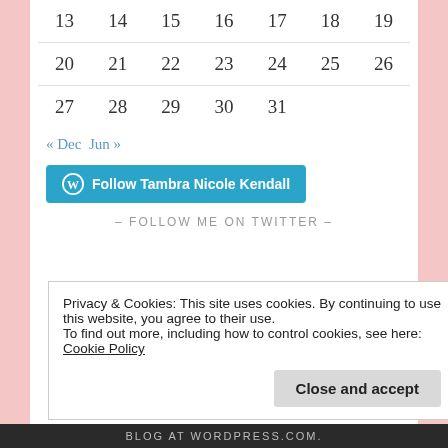| 13 | 14 | 15 | 16 | 17 | 18 | 19 |
| 20 | 21 | 22 | 23 | 24 | 25 | 26 |
| 27 | 28 | 29 | 30 | 31 |  |  |
« Dec  Jun »
[Figure (other): Follow Tambra Nicole Kendall button with WordPress logo]
– FOLLOW ME ON TWITTER –
Privacy & Cookies: This site uses cookies. By continuing to use this website, you agree to their use.
To find out more, including how to control cookies, see here: Cookie Policy
Close and accept
BLOG AT WORDPRESS.COM.